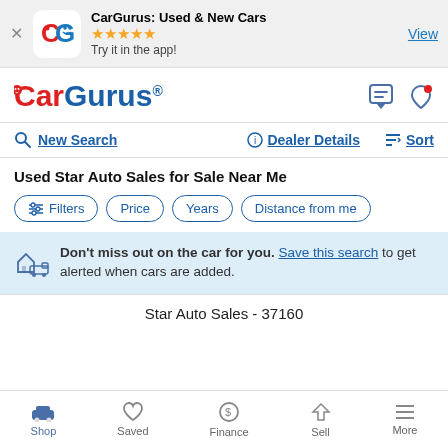[Figure (screenshot): App install banner showing CarGurus app icon, star rating, and View button]
[Figure (logo): CarGurus logo in red and blue text]
New Search | Dealer Details | Sort
Used Star Auto Sales for Sale Near Me
Filters | Price | Years | Distance from me
Don't miss out on the car for you. Save this search to get alerted when cars are added.
Star Auto Sales - 37160
Shop | Saved | Finance | Sell | More